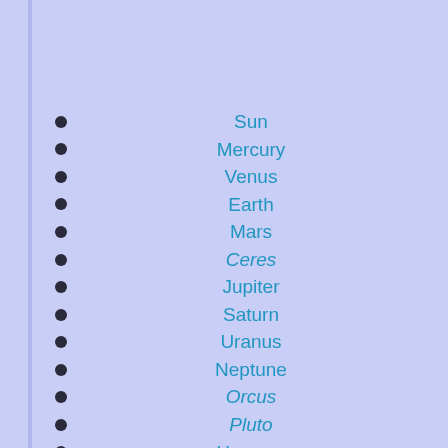Sun
Mercury
Venus
Earth
Mars
Ceres
Jupiter
Saturn
Uranus
Neptune
Orcus
Pluto
Haumea
Quaoar
Makemake
Gonggong
Eris